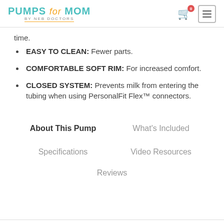PUMPS for MOM by NEB DOCTORS
time.
EASY TO CLEAN: Fewer parts.
COMFORTABLE SOFT RIM: For increased comfort.
CLOSED SYSTEM: Prevents milk from entering the tubing when using PersonalFit Flex™ connectors.
About This Pump
What's Included
Specifications
Video Resources
Reviews